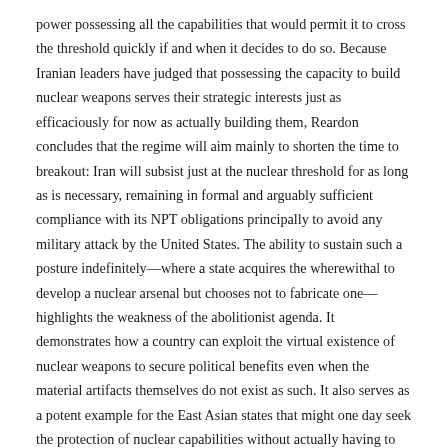power possessing all the capabilities that would permit it to cross the threshold quickly if and when it decides to do so. Because Iranian leaders have judged that possessing the capacity to build nuclear weapons serves their strategic interests just as efficaciously for now as actually building them, Reardon concludes that the regime will aim mainly to shorten the time to breakout: Iran will subsist just at the nuclear threshold for as long as is necessary, remaining in formal and arguably sufficient compliance with its NPT obligations principally to avoid any military attack by the United States. The ability to sustain such a posture indefinitely—where a state acquires the wherewithal to develop a nuclear arsenal but chooses not to fabricate one—highlights the weakness of the abolitionist agenda. It demonstrates how a country can exploit the virtual existence of nuclear weapons to secure political benefits even when the material artifacts themselves do not exist as such. It also serves as a potent example for the East Asian states that might one day seek the protection of nuclear capabilities without actually having to take the final step of actually fabricating nuclear weapons.
In Iran's case, simply acquiring the capacity to produce nuclear weapons appears to have bolstered the legitimacy of its theocratic rulers and enhanced